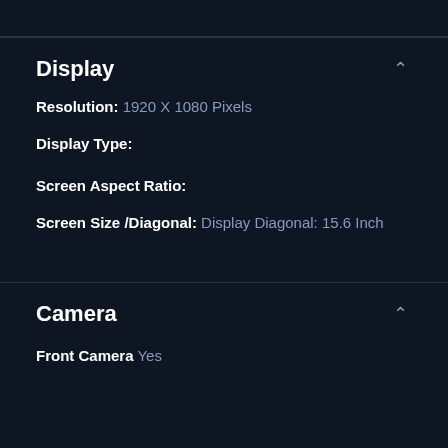Display
Resolution: 1920 X 1080 Pixels
Display Type:
Screen Aspect Ratio:
Screen Size /Diagonal: Display Diagonal: 15.6 Inch
Camera
Front Camera Yes